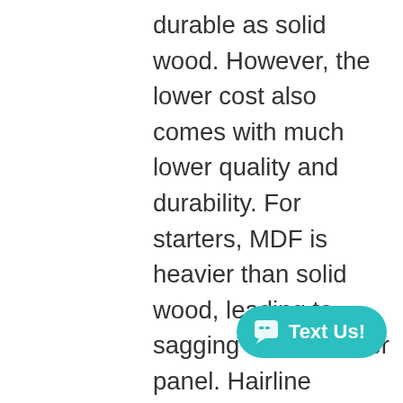durable as solid wood. However, the lower cost also comes with much lower quality and durability. For starters, MDF is heavier than solid wood, leading to sagging in the shutter panel. Hairline fractures also often occur in MDF where the staples connect the tilt rod or in places where the hinges are attached.

Another issue: MDF readily absorbs moisture, resulting in swelling and bubbling of the shutters. We don't carry MDF products because of quality and durability issues. Our locally-crafted hardwood shutters
[Figure (other): Teal/cyan rounded pill-shaped chat button with speech bubble icon and text 'Text Us!']